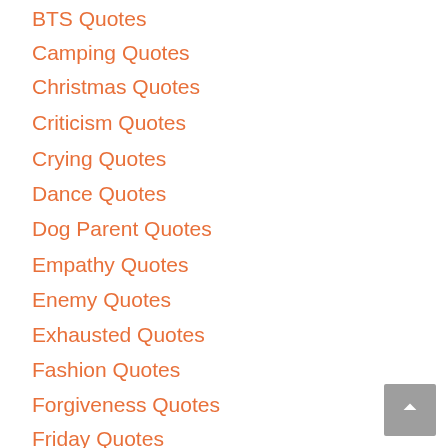BTS Quotes
Camping Quotes
Christmas Quotes
Criticism Quotes
Crying Quotes
Dance Quotes
Dog Parent Quotes
Empathy Quotes
Enemy Quotes
Exhausted Quotes
Fashion Quotes
Forgiveness Quotes
Friday Quotes